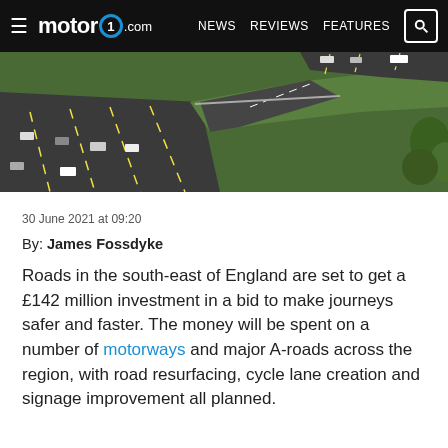motor1.com  NEWS  REVIEWS  FEATURES
[Figure (photo): Aerial view of motorway interchange with multiple lanes of traffic and green vegetation alongside the roads]
30 June 2021 at 09:20
By: James Fossdyke
Roads in the south-east of England are set to get a £142 million investment in a bid to make journeys safer and faster. The money will be spent on a number of motorways and major A-roads across the region, with road resurfacing, cycle lane creation and signage improvement all planned.